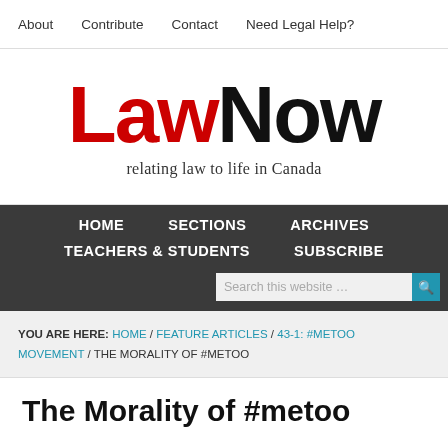About  Contribute  Contact  Need Legal Help?
[Figure (logo): LawNow logo — 'Law' in red, 'Now' in black bold, tagline 'relating law to life in Canada' below]
HOME  SECTIONS  ARCHIVES  TEACHERS & STUDENTS  SUBSCRIBE
YOU ARE HERE: HOME / FEATURE ARTICLES / 43-1: #METOO MOVEMENT / THE MORALITY OF #METOO
The Morality of #metoo